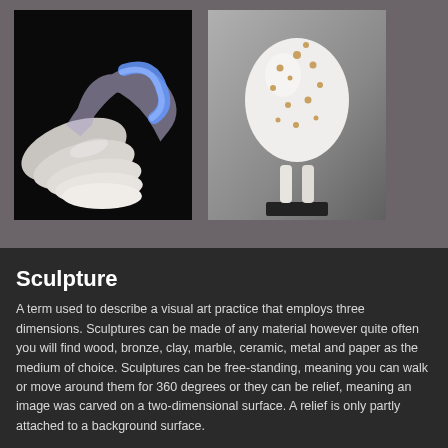[Figure (photo): Left photo: a white wavy/shell-like sculpture with a translucent purple-blue glowing ring element, photographed against a black background.]
[Figure (photo): Right photo: a white ceramic mushroom-like figurine with small gold/copper dots on its cap, standing on thin legs on a dark base, photographed against a grey gradient background.]
Sculpture
A term used to describe a visual art practice that employs three dimensions. Sculptures can be made of any material however quite often you will find wood, bronze, clay, marble, ceramic, metal and paper as the medium of choice. Sculptures can be free-standing, meaning you can walk or move around them for 360 degrees or they can be relief, meaning an image was carved on a two-dimensional surface. A relief is only partly attached to a background surface.